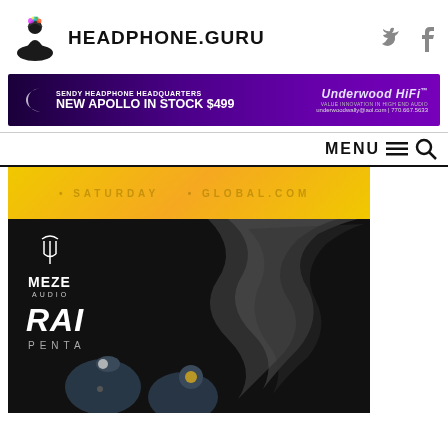[Figure (logo): Headphone.Guru logo with meditating figure wearing headphones and colorful splash, alongside site name HEADPHONE.GURU in bold, plus Twitter and Facebook social icons]
[Figure (infographic): Purple advertisement banner: SENDY HEADPHONE HEADQUARTERS / NEW APOLLO IN STOCK $499 / Underwood HiFi / underwoodwally@aol.com | 770.667.5633]
MENU
[Figure (photo): Partial yellow banner with circular text reading SATURDAY and .COM in arc]
[Figure (photo): Meze Audio RAI PENTA in-ear monitors product photo on black background showing two IEM earpieces and decorative chain artwork, with Meze Audio logo and RAI PENTA text overlay]